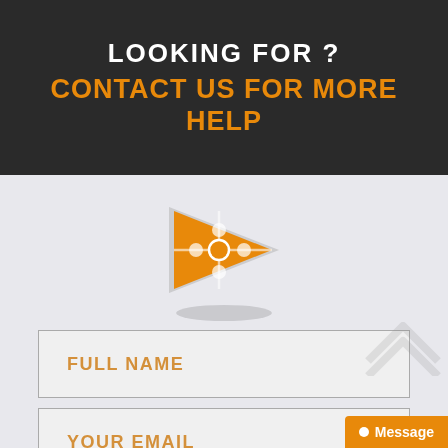LOOKING FOR ?
CONTACT US FOR MORE HELP
[Figure (logo): Orange puzzle-piece play button logo icon with gray border/shadow]
FULL NAME
YOUR EMAIL
MM/DD/YYYY